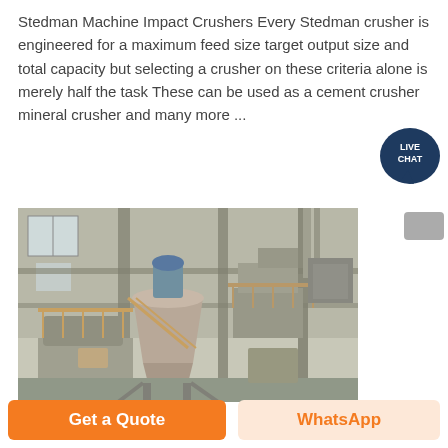Stedman Machine Impact Crushers Every Stedman crusher is engineered for a maximum feed size target output size and total capacity but selecting a crusher on these criteria alone is merely half the task These can be used as a cement crusher mineral crusher and many more ...
[Figure (photo): Industrial crusher machine in a large factory/plant setting, showing heavy machinery with conveyor systems, platforms, and structural steel framework. The equipment appears to be a vertical impact crusher or mill installation.]
Get a Quote
WhatsApp